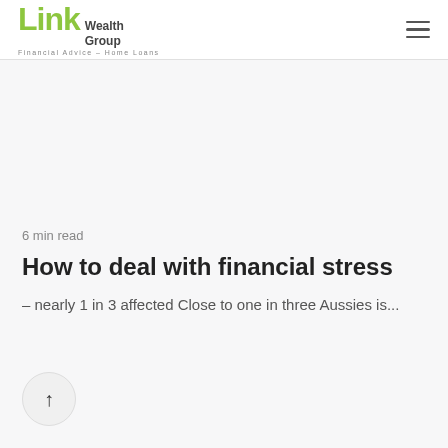Link Wealth Group — Financial Advice · Home Loans
6 min read
How to deal with financial stress
– nearly 1 in 3 affected Close to one in three Aussies is...